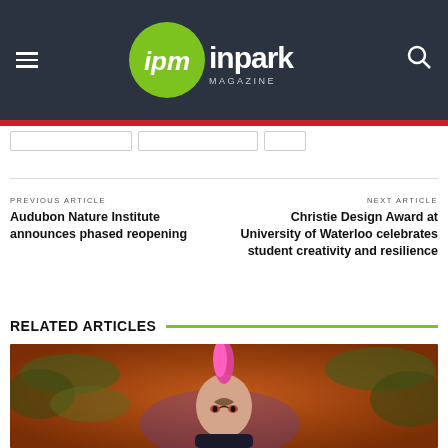ipm inpark MAGAZINE
PREVIOUS ARTICLE
Audubon Nature Institute announces phased reopening
NEXT ARTICLE
Christie Design Award at University of Waterloo celebrates student creativity and resilience
RELATED ARTICLES
[Figure (photo): Person with pink/red mohawk hairstyle and tribal face tattoos in a dramatic themed environment with moss and orange lighting]